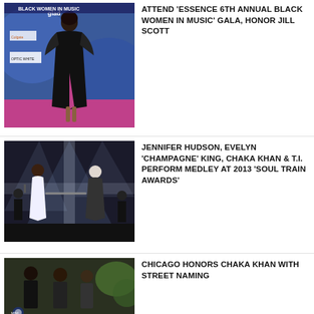[Figure (photo): Woman in black dress on red carpet at Black Women in Music event with sponsor logos in background]
ATTEND 'ESSENCE 6TH ANNUAL BLACK WOMEN IN MUSIC' GALA, HONOR JILL SCOTT
[Figure (photo): Jennifer Hudson and performers on stage at 2013 Soul Train Awards]
JENNIFER HUDSON, EVELYN 'CHAMPAGNE' KING, CHAKA KHAN & T.I. PERFORM MEDLEY AT 2013 'SOUL TRAIN AWARDS'
[Figure (photo): Performance or ceremony related to Chicago honoring Chaka Khan with street naming]
CHICAGO HONORS CHAKA KHAN WITH STREET NAMING